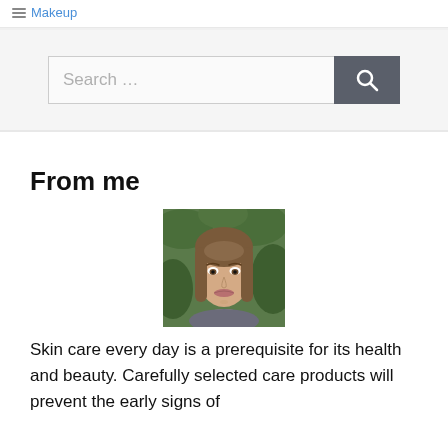Makeup
[Figure (screenshot): Search bar with text 'Search ...' and a dark grey search button with magnifying glass icon]
From me
[Figure (photo): Portrait photo of a young woman with long brown hair, light makeup, against a green leafy background]
Skin care every day is a prerequisite for its health and beauty. Carefully selected care products will prevent the early signs of